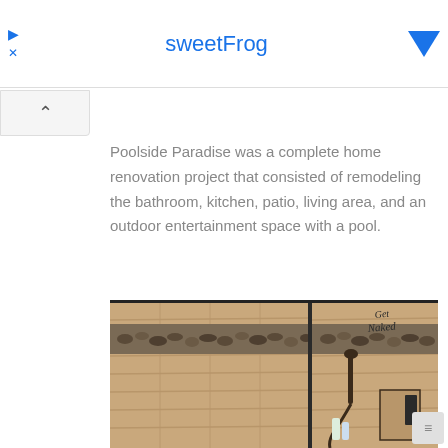sweetFrog
Poolside Paradise was a complete home renovation project that consisted of remodeling the bathroom, kitchen, patio, living area, and an outdoor entertainment space with a pool.
[Figure (photo): Remodeled bathroom shower with wood-look tile walls, a pebble stone accent band, a handheld showerhead on a dark fixture, built-in niche shelving with toiletries, and decorative 'Get Naked' script on the wall.]